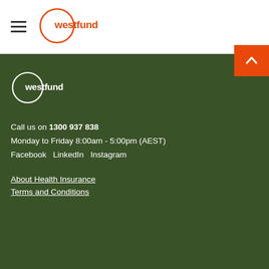westfund
[Figure (logo): Westfund logo in orange circle with hamburger menu icon in header]
[Figure (other): Orange back-to-top button with up chevron arrow]
[Figure (logo): Westfund logo in white on dark green footer background]
Call us on 1300 937 838
Monday to Friday 8:00am - 5:00pm (AEST)
Facebook  LinkedIn  Instagram
About Health Insurance
Terms and Conditions